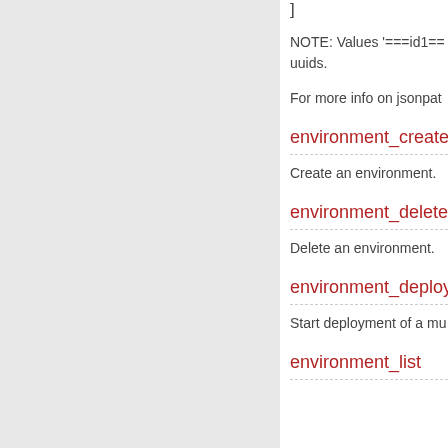]
NOTE: Values '===id1== uuids.
For more info on jsonpat
environment_create
Create an environment.
environment_delete
Delete an environment.
environment_deploy
Start deployment of a mu
environment_list